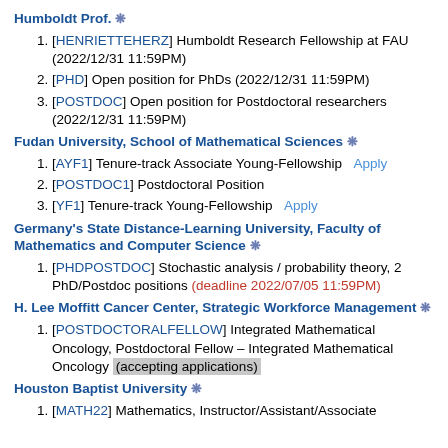Humboldt Prof. ❄
[HENRIETTEHERZ] Humboldt Research Fellowship at FAU (2022/12/31 11:59PM)
[PHD] Open position for PhDs (2022/12/31 11:59PM)
[POSTDOC] Open position for Postdoctoral researchers (2022/12/31 11:59PM)
Fudan University, School of Mathematical Sciences ❄
[AYF1] Tenure-track Associate Young-Fellowship   Apply
[POSTDOC1] Postdoctoral Position
[YF1] Tenure-track Young-Fellowship   Apply
Germany's State Distance-Learning University, Faculty of Mathematics and Computer Science ❄
[PHDPOSTDOC] Stochastic analysis / probability theory, 2 PhD/Postdoc positions (deadline 2022/07/05 11:59PM)
H. Lee Moffitt Cancer Center, Strategic Workforce Management ❄
[POSTDOCTORALFELLOW] Integrated Mathematical Oncology, Postdoctoral Fellow – Integrated Mathematical Oncology (accepting applications)
Houston Baptist University ❄
[MATH22] Mathematics, Instructor/Assistant/Associate Professor/Full Professor, Mathematics